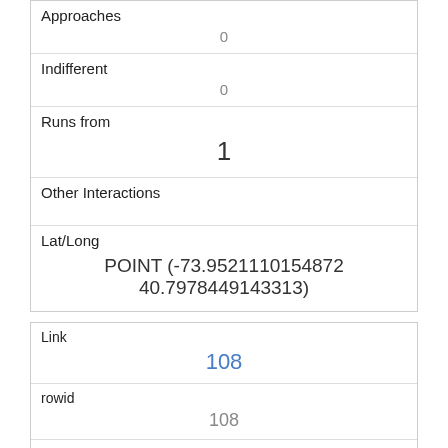| Approaches | 0 |
| Indifferent | 0 |
| Runs from | 1 |
| Other Interactions |  |
| Lat/Long | POINT (-73.9521110154872 40.7978449143313) |
| Link | 108 |
| rowid | 108 |
| longitude | -73.9574809028248 |
| latitude | 40.7950013620207 |
| Unique Squirrel ID |  |